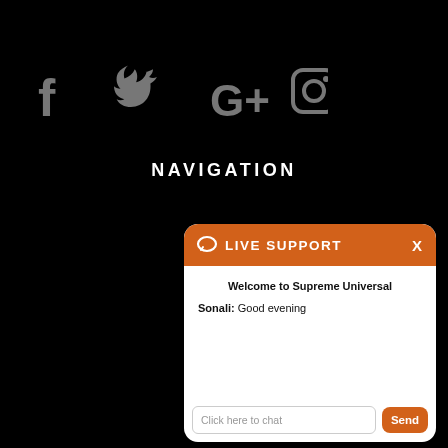[Figure (infographic): Social media icons: Facebook (f), Twitter (bird), Google+ (G+), Instagram (camera) in grey on black background]
NAVIGATION
[Figure (screenshot): Live support chat widget with orange header showing chat bubble icon and 'LIVE SUPPORT' text with X close button. Chat body shows 'Welcome to Supreme Universal' and 'Sonali: Good evening'. Footer has text input 'Click here to chat' and orange Send button.]